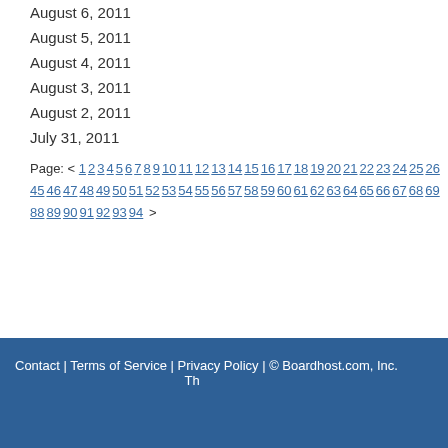August 6, 2011
August 5, 2011
August 4, 2011
August 3, 2011
August 2, 2011
July 31, 2011
Page: < 1 2 3 4 5 6 7 8 9 10 11 12 13 14 15 16 17 18 19 20 21 22 23 24 25 26 ... 45 46 47 48 49 50 51 52 53 54 55 56 57 58 59 60 61 62 63 64 65 66 67 68 69 7... 88 89 90 91 92 93 94 >
Contact | Terms of Service | Privacy Policy | © Boardhost.com, Inc.   Th...